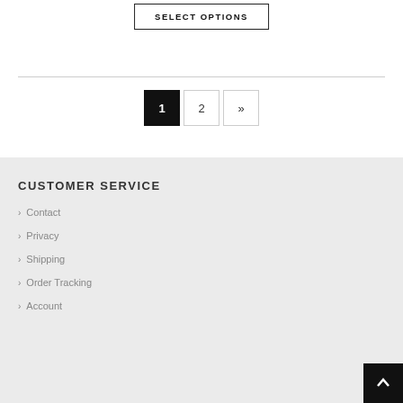SELECT OPTIONS
1  2  »
CUSTOMER SERVICE
› Contact
› Privacy
› Shipping
› Order Tracking
› Account